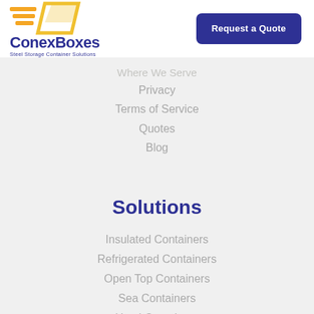[Figure (logo): ConexBoxes logo with orange geometric container icon and dark blue text reading ConexBoxes, tagline Steel Storage Container Solutions]
Request a Quote
Where We Serve
Privacy
Terms of Service
Quotes
Blog
Solutions
Insulated Containers
Refrigerated Containers
Open Top Containers
Sea Containers
Used Containers
Rent / Purchase